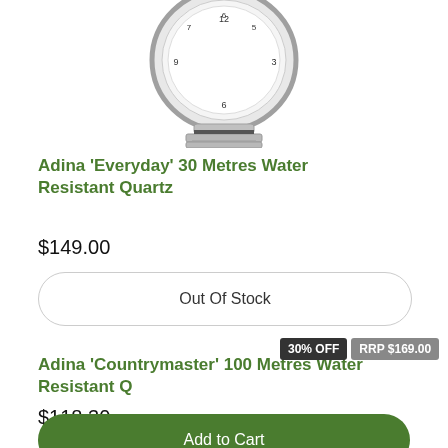[Figure (photo): Partial image of a silver stainless steel Adina watch showing the lower half of the watch face and the bracelet band, cropped at the top of the page.]
Adina 'Everyday' 30 Metres Water Resistant Quartz
$149.00
Out Of Stock
30% OFF
RRP $169.00
Adina 'Countrymaster' 100 Metres Water Resistant Q
$118.30
Add to Cart